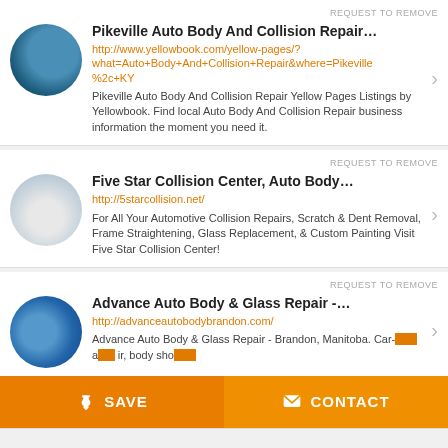REQUEST TO REMOVE
Pikeville Auto Body And Collision Repair…
http://www.yellowbook.com/yellow-pages/?what=Auto+Body+And+Collision+Repair&where=Pikeville%2c+KY
Pikeville Auto Body And Collision Repair Yellow Pages Listings by Yellowbook. Find local Auto Body And Collision Repair business information the moment you need it.
REQUEST TO REMOVE
Five Star Collision Center, Auto Body…
http://5starcollision.net/
For All Your Automotive Collision Repairs, Scratch & Dent Removal, Frame Straightening, Glass Replacement, & Custom Painting Visit Five Star Collision Center!
REQUEST TO REMOVE
Advance Auto Body & Glass Repair -…
http://advanceautobodybrandon.com/
Advance Auto Body & Glass Repair - Brandon, Manitoba. Car-…and…ir, body sho…
SAVE
CONTACT